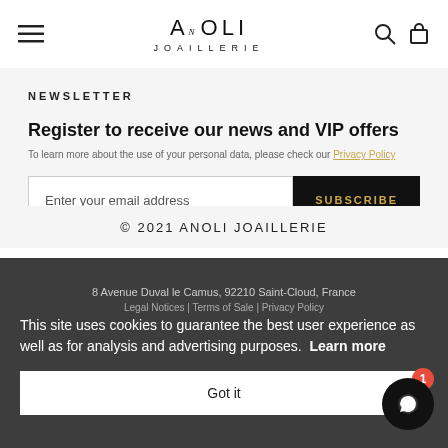ANOLI JOAILLERIE
NEWSLETTER
Register to receive our news and VIP offers
To learn more about the use of your personal data, please check our Privacy Policy
Enter your email address | SUBSCRIBE
© 2021 ANOLI JOAILLERIE
8 Avenue Duval le Camus, 92210 Saint-Cloud, France
Legal Notices | Terms of Sale | Privacy Policy
This site uses cookies to guarantee the best user experience as well as for analysis and advertising purposes. Learn more
Got it